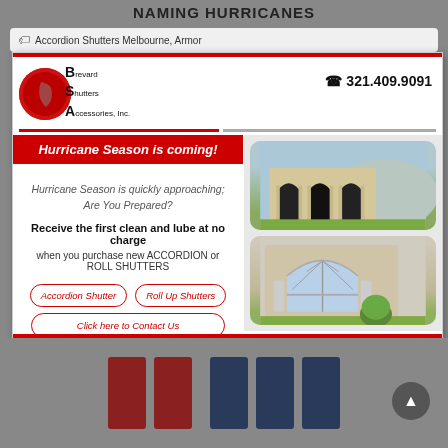NAMING HURRICANES
Accordion Shutters Melbourne, Armor
[Figure (logo): Brevard Shutters & Accessories Inc. logo with red circle and Florida state silhouette]
321.409.9091
Hurricane Season is coming!
Hurricane Season is quickly approaching; Are You Prepared?
Receive the first clean and lube at no charge when you purchase new ACCORDION or ROLL SHUTTERS
Accordion Shutter
Roll Up Shutters
Click here to Contact Us
[Figure (photo): House with dark accordion shutters on arched windows, exterior view]
[Figure (photo): House exterior with arched window and roll shutters, landscaping with round shrub]